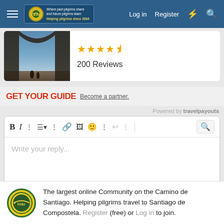Log in  Register
[Figure (screenshot): Review card with travel photo showing two people near ocean arch, star rating 4.5 stars, 200 Reviews]
200 Reviews
[Figure (logo): GET YOUR GUIDE logo in red followed by 'Become a partner.' link]
Powered by travelpayouts
[Figure (screenshot): Text editor reply box with toolbar showing B, I, dots, list, dots, link, image, emoji, dots, undo, dots icons and a search icon on right. Placeholder text: Write your reply...]
The largest online Community on the Camino de Santiago. Helping pilgrims travel to Santiago de Compostela. Register (free) or Log in to join.